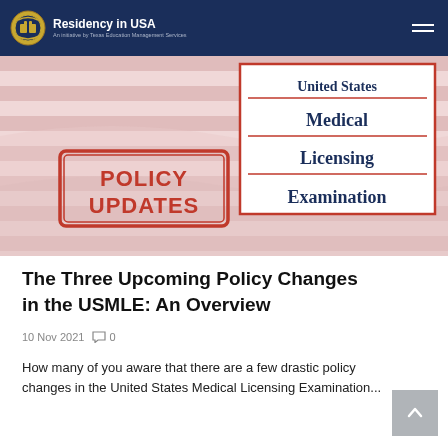Residency in USA — An initiative by Texas Education Management Services
[Figure (illustration): Hero image showing a United States Medical Licensing Examination certificate with a 'POLICY UPDATES' rubber stamp overlay and American flag stripes in the background]
The Three Upcoming Policy Changes in the USMLE: An Overview
10 Nov 2021   0
How many of you aware that there are a few drastic policy changes in the United States Medical Licensing Examination...